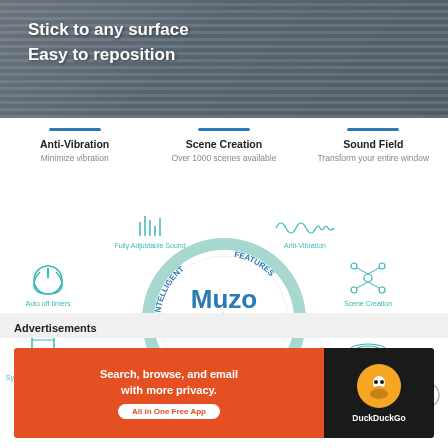[Figure (photo): Person wearing striped shirt sitting, with text overlay 'Stick to any surface / Easy to reposition']
Stick to any surface
Easy to reposition
Anti-Vibration
Minimize vibration
Scene Creation
Over 1000 scenes available
Sound Field
Transform your entire window
[Figure (infographic): Muzo product infographic showing intelligent features and analytics: center circle with Muzo logo, surrounding features: Fully Adjustable Sound, Anti-Vibration, Auto off timers, Synchronization Control, Scene Creation, Sound Field]
Advertisements
[Figure (infographic): DuckDuckGo advertisement: Search, browse, and email with more privacy. All in One Free App. DuckDuckGo logo.]